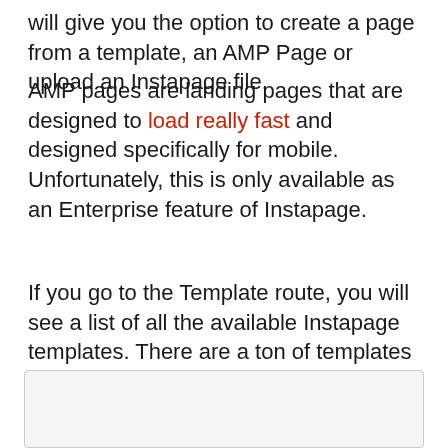will give you the option to create a page from a template, an AMP Page or upload an Instapage file.
AMP pages are landing pages that are designed to load really fast and designed specifically for mobile. Unfortunately, this is only available as an Enterprise feature of Instapage.
If you go to the Template route, you will see a list of all the available Instapage templates. There are a ton of templates available which can be a lot to scroll through.
[Figure (screenshot): A light gray box representing a screenshot or image placeholder.]